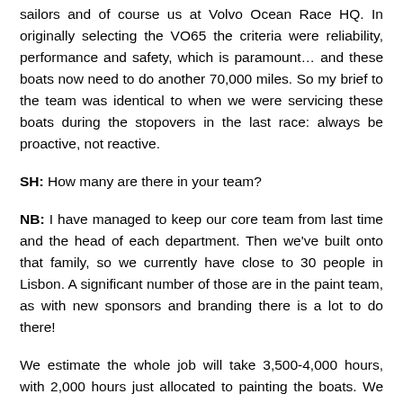sailors and of course us at Volvo Ocean Race HQ. In originally selecting the VO65 the criteria were reliability, performance and safety, which is paramount… and these boats now need to do another 70,000 miles. So my brief to the team was identical to when we were servicing these boats during the stopovers in the last race: always be proactive, not reactive.
SH: How many are there in your team?
NB: I have managed to keep our core team from last time and the head of each department. Then we've built onto that family, so we currently have close to 30 people in Lisbon. A significant number of those are in the paint team, as with new sponsors and branding there is a lot to do there!
We estimate the whole job will take 3,500-4,000 hours, with 2,000 hours just allocated to painting the boats. We have